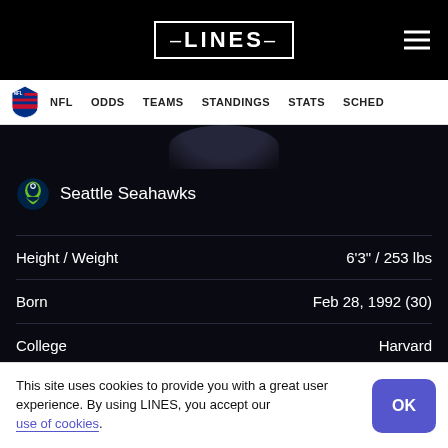LINES
NFL  ODDS  TEAMS  STANDINGS  STATS  SCHED
Seattle Seahawks
|  |  |
| --- | --- |
| Height / Weight | 6'3" / 253 lbs |
| Born | Feb 28, 1992 (30) |
| College | Harvard |
| NFL Draft | 2014: Undrafted |
| NFL Career | 8th Season |
This site uses cookies to provide you with a great user experience. By using LINES, you accept our use of cookies.